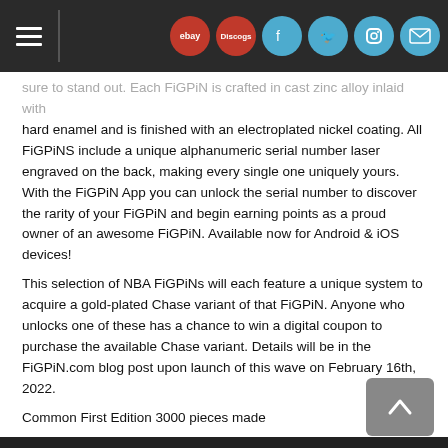Navigation bar with hamburger menu, eBay, Discogs, Facebook, Twitter, Instagram, and mail icons
...sure to stand out. Each FiGPiN is crafted in cast zinc alloy inlaid with hard enamel and is finished with an electroplated nickel coating. All FiGPiNS include a unique alphanumeric serial number laser engraved on the back, making every single one uniquely yours. With the FiGPiN App you can unlock the serial number to discover the rarity of your FiGPiN and begin earning points as a proud owner of an awesome FiGPiN. Available now for Android & iOS devices!
This selection of NBA FiGPiNs will each feature a unique system to acquire a gold-plated Chase variant of that FiGPiN. Anyone who unlocks one of these has a chance to win a digital coupon to purchase the available Chase variant. Details will be in the FiGPiN.com blog post upon launch of this wave on February 16th, 2022.
Common First Edition 3000 pieces made
PRODUCT DETAILS
FiGPiN Number:Â S5
Ages 14+
Cast zinc alloy inlaid with hard synthetic color enamel.
Finished with an electroplated nickel coating.